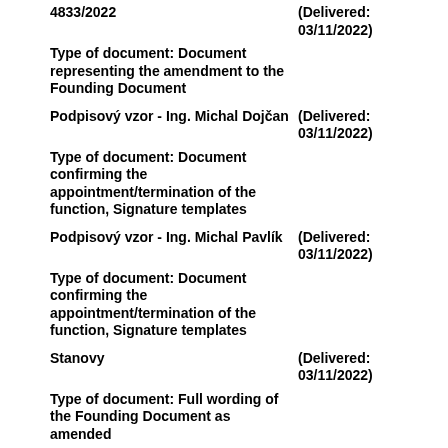4833/2022
(Delivered: 03/11/2022)
Type of document: Document representing the amendment to the Founding Document
Podpisový vzor - Ing. Michal Dojčan
(Delivered: 03/11/2022)
Type of document: Document confirming the appointment/termination of the function, Signature templates
Podpisový vzor - Ing. Michal Pavlík
(Delivered: 03/11/2022)
Type of document: Document confirming the appointment/termination of the function, Signature templates
Stanovy
(Delivered: 03/11/2022)
Type of document: Full wording of the Founding Document as amended
Rozhodnutie jediného akcionára
(Delivered: 05/02/2022)
Type of document: Document representing the amendment to the Founding Document
Podpisový vzor
(Delivered: 05/02/2022)
Type of document: Document confirming the